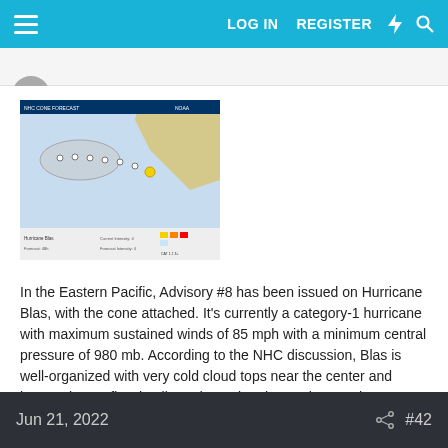LOG IN   REGISTER
[Figure (map): NHC cone forecast map for Hurricane Blas in the Eastern Pacific, showing storm track and uncertainty cone heading northwest away from the Mexican coast.]
In the Eastern Pacific, Advisory #8 has been issued on Hurricane Blas, with the cone attached. It's currently a category-1 hurricane with maximum sustained winds of 85 mph with a minimum central pressure of 980 mb. According to the NHC discussion, Blas is well-organized with very cold cloud tops near the center and impressive outflow in all quadrants but the northeast. The NHC forecasts a peak of 85 knots, or 100 mph, which is a category 2 peak.
Jun 21, 2022    #42